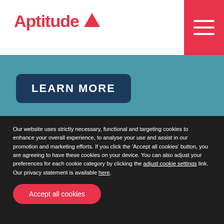[Figure (logo): Aptitude logo with red text and red triangle icon]
[Figure (other): Red hamburger menu button with three white horizontal lines]
[Figure (other): Teal background section]
LEARN MORE
Finance management solution to
Our website uses strictly necessary, functional and targeting cookies to enhance your overall experience, to analyse your use and assist in our promotion and marketing efforts. If you click the 'Accept all cookies' button, you are agreeing to have these cookies on your device. You can also adjust your preferences for each cookie category by clicking the adjust cookie settings link. Our privacy statement is available here.
Accept all cookies